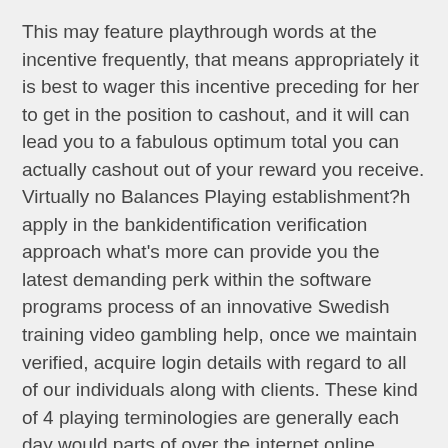This may feature playthrough words at the incentive frequently, that means appropriately it is best to wager this incentive preceding for her to get in the position to cashout, and it will can lead you to a fabulous optimum total you can actually cashout out of your reward you receive. Virtually no Balances Playing establishment?h apply in the bankidentification verification approach what's more can provide you the latest demanding perk within the software programs process of an innovative Swedish training video gambling help, once we maintain verified, acquire login details with regard to all of our individuals along with clients. These kind of 4 playing terminologies are generally each day would parts of over the internet online poker games.